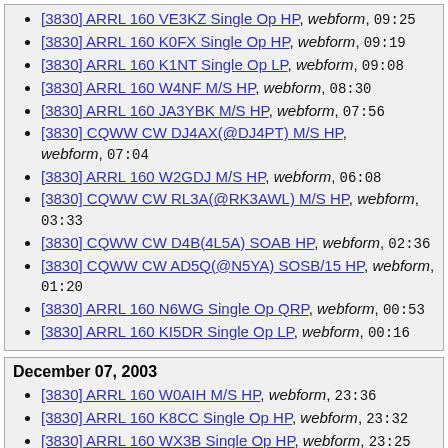[3830] ARRL 160 VE3KZ Single Op HP, webform, 09:25
[3830] ARRL 160 K0FX Single Op HP, webform, 09:19
[3830] ARRL 160 K1NT Single Op LP, webform, 09:08
[3830] ARRL 160 W4NF M/S HP, webform, 08:30
[3830] ARRL 160 JA3YBK M/S HP, webform, 07:56
[3830] CQWW CW DJ4AX(@DJ4PT) M/S HP, webform, 07:04
[3830] ARRL 160 W2GDJ M/S HP, webform, 06:08
[3830] CQWW CW RL3A(@RK3AWL) M/S HP, webform, 03:33
[3830] CQWW CW D4B(4L5A) SOAB HP, webform, 02:36
[3830] CQWW CW AD5Q(@N5YA) SOSB/15 HP, webform, 01:20
[3830] ARRL 160 N6WG Single Op QRP, webform, 00:53
[3830] ARRL 160 KI5DR Single Op LP, webform, 00:16
December 07, 2003
[3830] ARRL 160 W0AIH M/S HP, webform, 23:36
[3830] ARRL 160 K8CC Single Op HP, webform, 23:32
[3830] ARRL 160 WX3B Single Op HP, webform, 23:25
[3830] ARRL 160 AC4JI Single Op LP, webform, 23:23
[3830] ARRL 160 N9RV M/S HP, webform, 22:47
[3830] ARRL 160 KT2Y Single Op HP, webform, ...